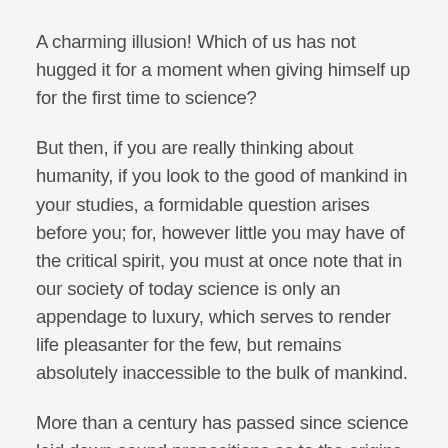A charming illusion! Which of us has not hugged it for a moment when giving himself up for the first time to science?
But then, if you are really thinking about humanity, if you look to the good of mankind in your studies, a formidable question arises before you; for, however little you may have of the critical spirit, you must at once note that in our society of today science is only an appendage to luxury, which serves to render life pleasanter for the few, but remains absolutely inaccessible to the bulk of mankind.
More than a century has passed since science laid down sound propositions as to the origins of the universe, but how many have mastered them or possess the really scientific spirit of criticism? A few thousands at the outside, who are lost in the midst of hundreds of millions still steeped in prejudices and